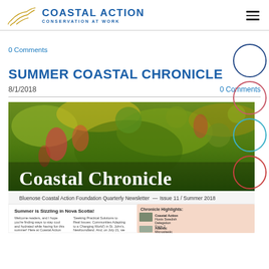Coastal Action — Conservation at Work
0 Comments
SUMMER COASTAL CHRONICLE
8/1/2018   0 Comments
[Figure (photo): Coastal Chronicle newsletter banner — Issue 11 / Summer 2018, showing sundew plants and newsletter title 'Coastal Chronicle' with tagline 'Bluenose Coastal Action Foundation Quarterly Newsletter'. Contains inset showing 'Summer is Sizzling in Nova Scotia!' article and Chronicle Highlights sidebar.]